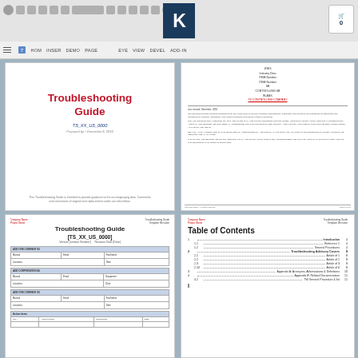[Figure (screenshot): Browser application window showing a document template website with a 'K' logo, navigation bar, and four document thumbnail previews of a Troubleshooting Guide template]
Troubleshooting Guide
TS_XX_US_0000
Troubleshooting Guide [TS_XX_US_0000]
Table of Contents
1  Introduction  4
1.1  Reference 1  4
1.2  General Procedures  4
2  Troubleshooting Advisory Covers  8
2.1  Article of 1  8
2.2  Article of 2  8
2.3  Article of 3  8
2.10  Article of 6  8
3  Appendix A: Acronyms, Abbreviations & Definitions  10
4  Appendix B: Related Documentation  11
4.1  TW General Procedure & list  11